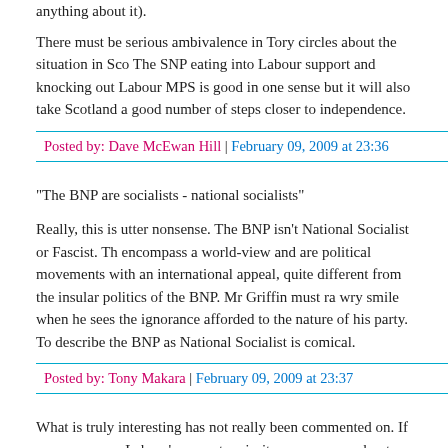anything about it).
There must be serious ambivalence in Tory circles about the situation in Scotland. The SNP eating into Labour support and knocking out Labour MPS is good in one sense but it will also take Scotland a good number of steps closer to independence.
Posted by: Dave McEwan Hill | February 09, 2009 at 23:36
"The BNP are socialists - national socialists"
Really, this is utter nonsense. The BNP isn't National Socialist or Fascist. These encompass a world-view and are political movements with an international appeal, quite different from the insular politics of the BNP. Mr Griffin must raise a wry smile when he sees the ignorance afforded to the nature of his party. To describe the BNP as National Socialist is comical.
Posted by: Tony Makara | February 09, 2009 at 23:37
What is truly interesting has not really been commented on. If memory serves Labour's current majority was won on about 25% of the electorate. 25% of the electorate could not ever be described as a mandate; nonetheless Labour has inflicted all its dire policies on us.